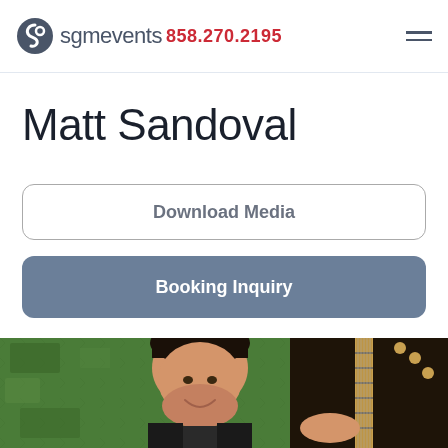sgmevents  858.270.2195
Matt Sandoval
Download Media
Booking Inquiry
[Figure (photo): Photo of Matt Sandoval smiling, holding a guitar, against a green textured wall background]